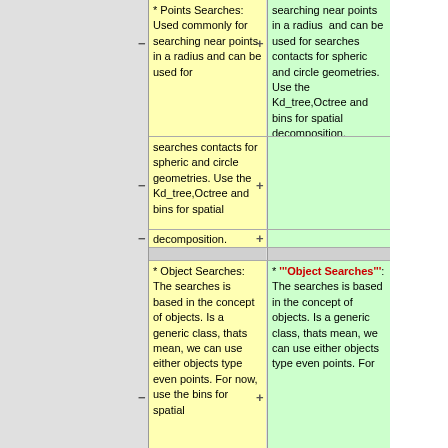* Points Searches: Used commonly for searching near points in a radius and can be used for
searching near points in a radius  and can be used for searches contacts for spheric and circle geometries. Use the Kd_tree,Octree and bins for spatial decomposition.
searches contacts for spheric and circle geometries. Use the Kd_tree,Octree and bins for spatial
decomposition.
* Object Searches: The searches is based in the concept of objects. Is a generic class, thats mean, we can use either objects type even points. For now, use the bins for spatial
* '''Object Searches''': The searches is based in the concept of objects. Is a generic class, thats mean, we can use either objects type even points. For